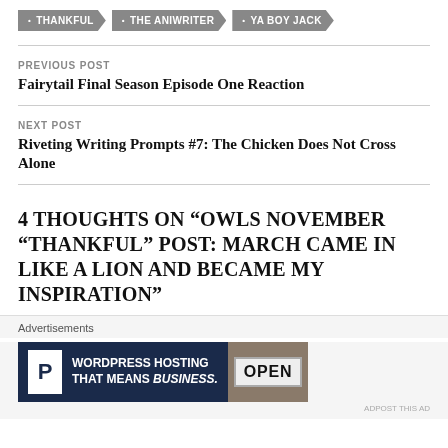THANKFUL
THE ANIWRITER
YA BOY JACK
PREVIOUS POST
Fairytail Final Season Episode One Reaction
NEXT POST
Riveting Writing Prompts #7: The Chicken Does Not Cross Alone
4 THOUGHTS ON “OWLS NOVEMBER “THANKFUL” POST: MARCH CAME IN LIKE A LION AND BECAME MY INSPIRATION”
Advertisements
[Figure (screenshot): WordPress hosting advertisement banner reading 'WORDPRESS HOSTING THAT MEANS BUSINESS.' with a P icon and an OPEN sign photo]